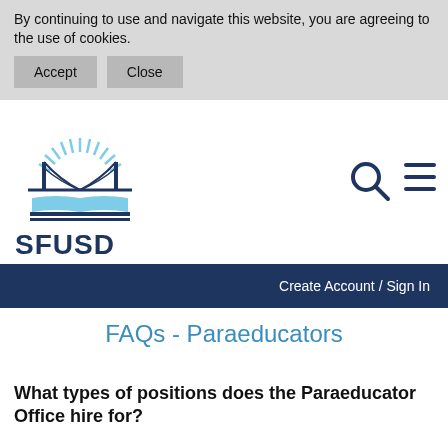By continuing to use and navigate this website, you are agreeing to the use of cookies.
Accept   Close
[Figure (logo): SFUSD logo with golden gate bridge and sunrise rays above an open book, with text SFUSD in dark navy blue]
[Figure (other): Search icon (magnifying glass) and hamburger menu icon in dark navy]
Create Account / Sign In
FAQs - Paraeducators
What types of positions does the Paraeducator Office hire for?